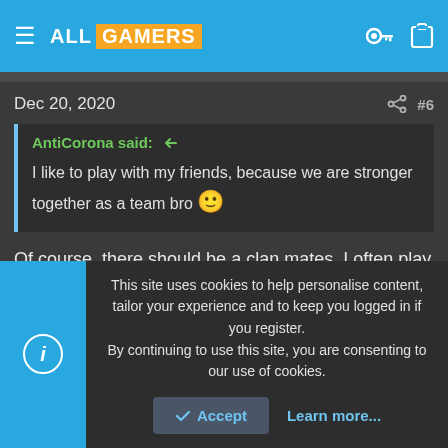ALL GAMERS
Dec 20, 2020  #6
AntiCorona said:
I like to play with my friends, because we are stronger together as a team bro 🙂
Of course, there should be a clan mates. I often play with my clan members but can't play against them. Since they know my all technique
↩ Reply
This site uses cookies to help personalise content, tailor your experience and to keep you logged in if you register. By continuing to use this site, you are consenting to our use of cookies.
Accept
Learn more...